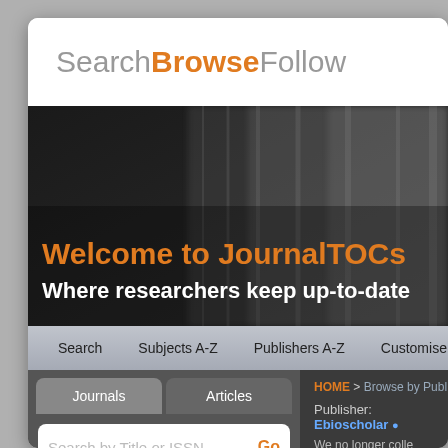SearchBrowseFollow
[Figure (screenshot): JournalTOCs website hero banner showing blurred journal spines background with orange text 'Welcome to JournalTOCs' and white text 'Where researchers keep up-to-date']
Search  Subjects A-Z  Publishers A-Z  Customise  AP
Journals  Articles
Search by Title or ISSN  Go
HOME > Browse by Publ
Publisher: Ebioscholar
We no longer colle